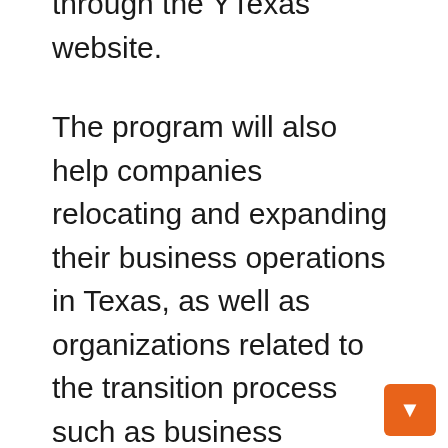through the YTexas website.
The program will also help companies relocating and expanding their business operations in Texas, as well as organizations related to the transition process such as business relocation companies, economic development organizations, and Fortune 1000 companies.
“As a leading driver of business growth and expansion in our state, YTexas is the ideal partner to help Panorama Travel Solutions expand its presence in this market,” said Ed Curtis, CEO of YTexas. . “By partnering to create the YTexas Travel Club, the Texas business community can enjoy exclusive travel discounts and exciting benefits the whole family can enjoy.